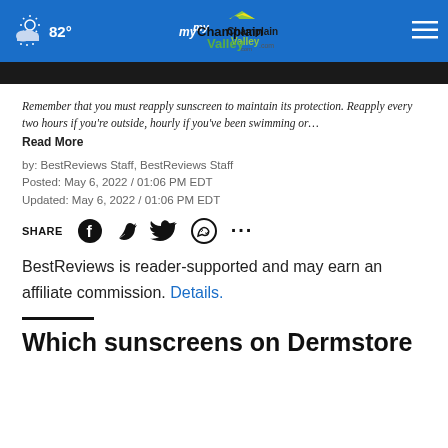[Figure (screenshot): Website header bar with myChamplainValley.com logo, weather icon showing cloudy with 82°, and hamburger menu icon on blue background]
Remember that you must reapply sunscreen to maintain its protection. Reapply every two hours if you're outside, hourly if you've been swimming or…
Read More
by: BestReviews Staff, BestReviews Staff
Posted: May 6, 2022 / 01:06 PM EDT
Updated: May 6, 2022 / 01:06 PM EDT
SHARE
BestReviews is reader-supported and may earn an affiliate commission. Details.
Which sunscreens on Dermstore